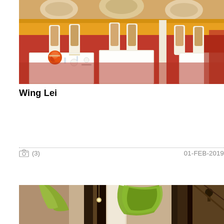[Figure (photo): Interior of Wing Lei restaurant showing elegant dining room with red carpet, white table-clothed tables, gold/tan upholstered chairs, yellow booths, and decorative fan ornaments on the ceiling.]
Wing Lei
(3)   01-FEB-2019
[Figure (photo): Interior photo of a restaurant or hotel lobby showing green curved modern lamp shades and dark striped architectural elements.]